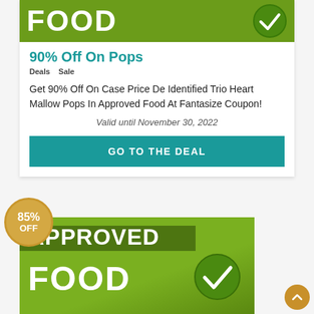[Figure (illustration): Green Approved Food banner with large white FOOD text and green checkmark circle, partially visible at top]
90% Off On Pops
Deals   Sale
Get 90% Off On Case Price De Identified Trio Heart Mallow Pops In Approved Food At Fantasize Coupon!
Valid until November 30, 2022
GO TO THE DEAL
[Figure (illustration): Green Approved Food banner with large white APPROVED FOOD text and green checkmark circle, with gold 85% OFF circular badge overlay]